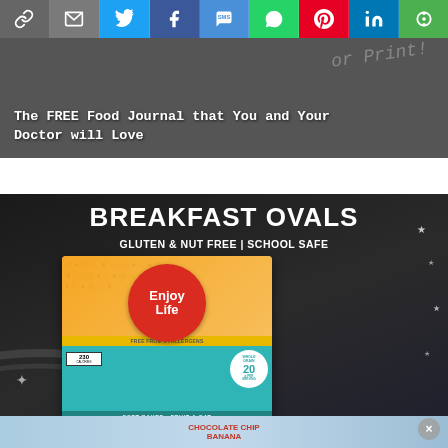[Figure (infographic): Social share bar with icons: link, email, Twitter, Facebook, SMS, WhatsApp, Pinterest, LinkedIn, More]
[Figure (infographic): Hero banner with dark background and handwriting-style text. Overlaid white bold title text.]
The FREE Food Journal that You and Your Doctor will Love
[Figure (infographic): Advertisement for Enjoy Life Breakfast Ovals – Gluten & Nut Free, School Safe. Shows product box (Chocolate Chip Banana flavor) on dark chalkboard background with stars. Product features soft baked fruit & oat breakfast ovals, free from 14 allergens, 20g whole grains.]